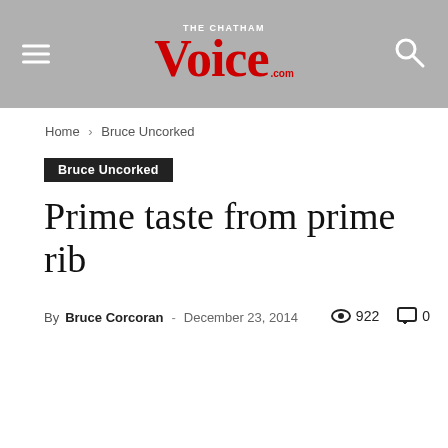THE CHATHAM Voice .com
Home › Bruce Uncorked
Bruce Uncorked
Prime taste from prime rib
By Bruce Corcoran - December 23, 2014  922  0